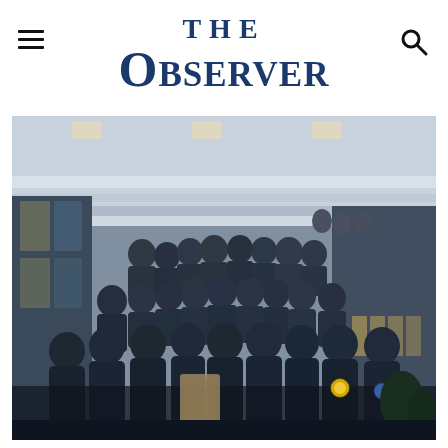THE OBSERVER
[Figure (photo): Group photo of approximately 25-30 students and a few adults posing together in a large multi-story atrium or convention center. Several students are wearing medals. Some are holding an award plaque. The group appears to be a school academic team at a competition.]